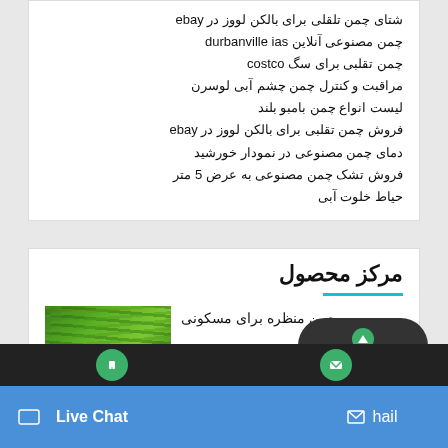شتان چمن تلقلی برای بالکن لووز در ebay
چمن مصنوعی آنلاین durbanville ias
چمن تقلبی برای سگ costco
مراقبت و کنترل چمن چشم آبی لوسرن
لیست انواع چمن بامبو بلند
فروش چمن تقلبی برای بالکن لووز در ebay
دمای چمن مصنوعی در نمودار خورشید
فروش تشک چمن مصنوعی به عرض 5 متر
حیاط خلوت آبی
مرکز محصول
[Figure (photo): Artificial green grass/turf close-up photo]
چمن منظره برای مسکونی